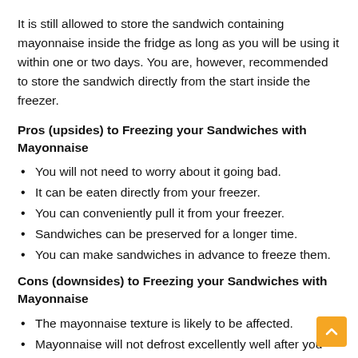It is still allowed to store the sandwich containing mayonnaise inside the fridge as long as you will be using it within one or two days. You are, however, recommended to store the sandwich directly from the start inside the freezer.
Pros (upsides) to Freezing your Sandwiches with Mayonnaise
You will not need to worry about it going bad.
It can be eaten directly from your freezer.
You can conveniently pull it from your freezer.
Sandwiches can be preserved for a longer time.
You can make sandwiches in advance to freeze them.
Cons (downsides) to Freezing your Sandwiches with Mayonnaise
The mayonnaise texture is likely to be affected.
Mayonnaise will not defrost excellently well after you have frozen.
The ingredients will likely separate if you defrost the sandwich.